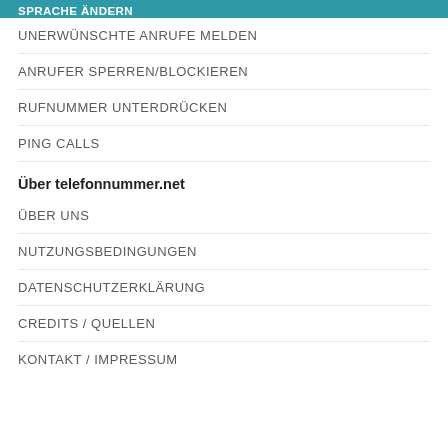SPRACHE ÄNDERN
UNERWÜNSCHTE ANRUFE MELDEN
ANRUFER SPERREN/BLOCKIEREN
RUFNUMMER UNTERDRÜCKEN
PING CALLS
Über telefonnummer.net
ÜBER UNS
NUTZUNGSBEDINGUNGEN
DATENSCHUTZERKLÄRUNG
CREDITS / QUELLEN
KONTAKT / IMPRESSUM